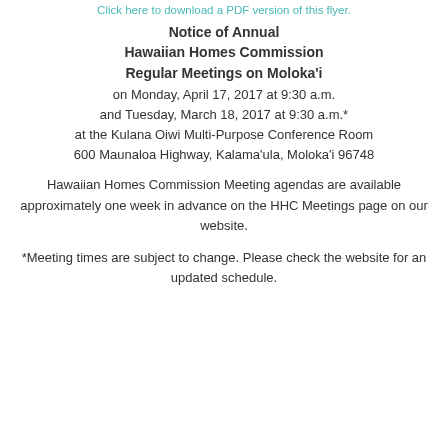Click here to download a PDF version of this flyer.
Notice of Annual Hawaiian Homes Commission Regular Meetings on Molokaʻi
on Monday, April 17, 2017 at 9:30 a.m.
and Tuesday, March 18, 2017 at 9:30 a.m.*
at the Kulana Oiwi Multi-Purpose Conference Room
600 Maunaloa Highway, Kalamaʻula, Molokaʻi 96748
Hawaiian Homes Commission Meeting agendas are available approximately one week in advance on the HHC Meetings page on our website.
*Meeting times are subject to change. Please check the website for an updated schedule.